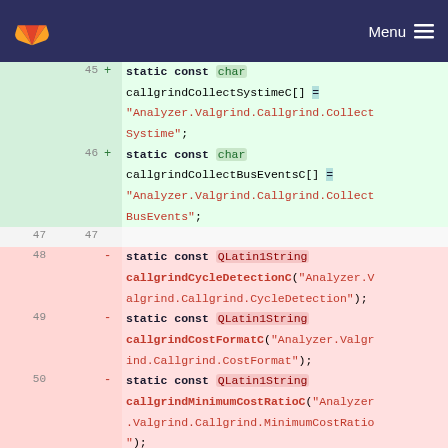[Figure (screenshot): GitLab navigation header bar with logo and Menu button]
45 + static const char callgrindCollectSystimeC[] = "Analyzer.Valgrind.Callgrind.CollectSysteme";
46 + static const char callgrindCollectBusEventsC[] = "Analyzer.Valgrind.Callgrind.CollectBusEvents";
47 47
48   - static const QLatin1String callgrindCycleDetectionC("Analyzer.Valgrind.Callgrind.CycleDetection");
49   - static const QLatin1String callgrindCostFormatC("Analyzer.Valgrind.Callgrind.CostFormat");
50   - static const QLatin1String callgrindMinimumCostRatioC("Analyzer.Valgrind.Callgrind.MinimumCostRatio");
48 + static const char